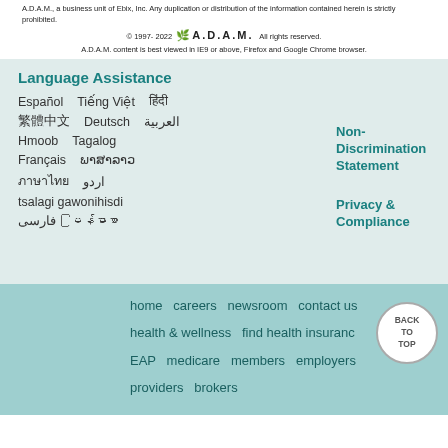A.D.A.M., a business unit of Ebix, Inc. Any duplication or distribution of the information contained herein is strictly prohibited.
© 1997-2022 A.D.A.M. All rights reserved. A.D.A.M. content is best viewed in IE9 or above, Firefox and Google Chrome browser.
Language Assistance
Español   Tiếng Việt   हिंदी   한국어
繁體中文   Deutsch   العربية
Hmoob   Tagalog
Français   ພາສາລາວ
ภาษาไทย   اردو
tsalagi gawonihisdi
فارسی   မြန်မာစာ
Non-Discrimination Statement
Privacy & Compliance
home   careers   newsroom   contact us   health & wellness   find health insurance   EAP   medicare   members   employers   providers   brokers